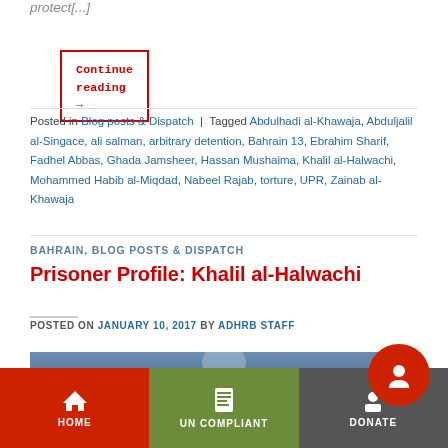protect[...]
Continue reading →
Posted in Blog posts & Dispatch | Tagged Abdulhadi al-Khawaja, Abduljalil al-Singace, ali salman, arbitrary detention, Bahrain 13, Ebrahim Sharif, Fadhel Abbas, Ghada Jamsheer, Hassan Mushaima, Khalil al-Halwachi, Mohammed Habib al-Miqdad, Nabeel Rajab, torture, UPR, Zainab al-Khawaja
BAHRAIN, BLOG POSTS & DISPATCH
Prisoner Profile: Khalil al-Halwachi
POSTED ON JANUARY 10, 2017 BY ADHRB STAFF
[Figure (photo): Partial photo strip of a person, cropped at bottom of content area]
HOME   UN COMPLIANT   DONATE